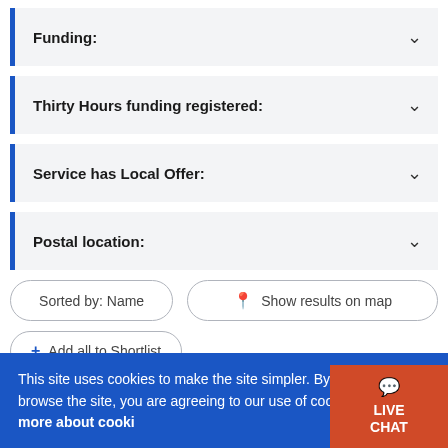Funding:
Thirty Hours funding registered:
Service has Local Offer:
Postal location:
Sorted by: Name
Show results on map
+ Add all to Shortlist
This site uses cookies to make the site simpler. By continuing to browse the site, you are agreeing to our use of cookies. Find out more about cookies